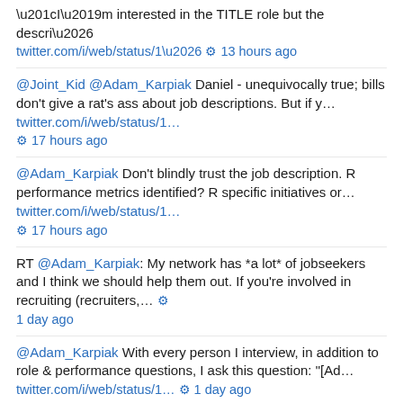“I’m interested in the TITLE role but the descri… twitter.com/i/web/status/1… ⚙ 13 hours ago
@Joint_Kid @Adam_Karpiak Daniel - unequivocally true; bills don’t give a rat's ass about job descriptions. But if y… twitter.com/i/web/status/1… ⚙ 17 hours ago
@Adam_Karpiak Don’t blindly trust the job description. R performance metrics identified? R specific initiatives or… twitter.com/i/web/status/1… ⚙ 17 hours ago
RT @Adam_Karpiak: My network has *a lot* of jobseekers and I think we should help them out. If you’re involved in recruiting (recruiters,… ⚙ 1 day ago
@Adam_Karpiak With every person I interview, in addition to role & performance questions, I ask this question: “[Ad… twitter.com/i/web/status/1… ⚙ 1 day ago
@saltysweeney Proximity algos are easily gamed - by listening to “career experts” and loading up your professionall… twitter.com/i/web/status/1… ⚙